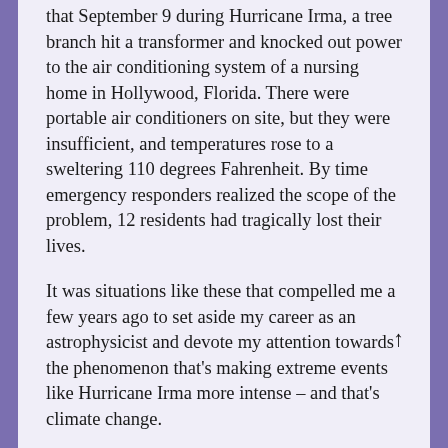that September 9 during Hurricane Irma, a tree branch hit a transformer and knocked out power to the air conditioning system of a nursing home in Hollywood, Florida. There were portable air conditioners on site, but they were insufficient, and temperatures rose to a sweltering 110 degrees Fahrenheit. By time emergency responders realized the scope of the problem, 12 residents had tragically lost their lives.
It was situations like these that compelled me a few years ago to set aside my career as an astrophysicist and devote my attention towards the phenomenon that's making extreme events like Hurricane Irma more intense – and that's climate change.
Through this AAAS Fellowship I've had the privilege of working with the Department of Energy's Building Technologies Office. And when I told people I'd be going to BTO they'd say…"Why? I